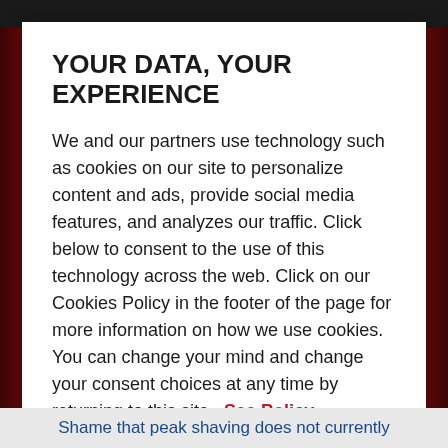YOUR DATA, YOUR EXPERIENCE
We and our partners use technology such as cookies on our site to personalize content and ads, provide social media features, and analyzes our traffic. Click below to consent to the use of this technology across the web. Click on our Cookies Policy in the footer of the page for more information on how we use cookies. You can change your mind and change your consent choices at any time by returning to this site.  See Policy
REJECT ALL
ACCEPT ALL COOKIES
Shame that peak shaving does not currently